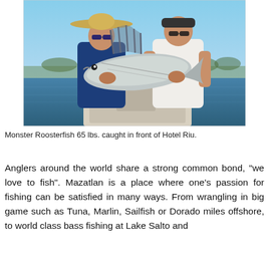[Figure (photo): Two men on a boat holding a large roosterfish. The man on the left wears a wide-brimmed straw hat and blue long-sleeve shirt with sunglasses. The man on the right wears a white sleeveless shirt and dark baseball cap with sunglasses. They are holding a large silver roosterfish with distinctive dorsal spines between them. Blue water and shoreline visible in background.]
Monster Roosterfish 65 lbs. caught in front of Hotel Riu.
Anglers around the world share a strong common bond, "we love to fish". Mazatlan is a place where one's passion for fishing can be satisfied in many ways. From wrangling in big game such as Tuna, Marlin, Sailfish or Dorado miles offshore, to world class bass fishing at Lake Salto and